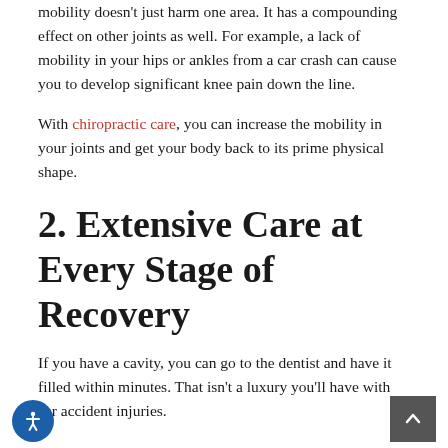mobility doesn't just harm one area. It has a compounding effect on other joints as well. For example, a lack of mobility in your hips or ankles from a car crash can cause you to develop significant knee pain down the line.
With chiropractic care, you can increase the mobility in your joints and get your body back to its prime physical shape.
2. Extensive Care at Every Stage of Recovery
If you have a cavity, you can go to the dentist and have it filled within minutes. That isn't a luxury you'll have with car accident injuries.